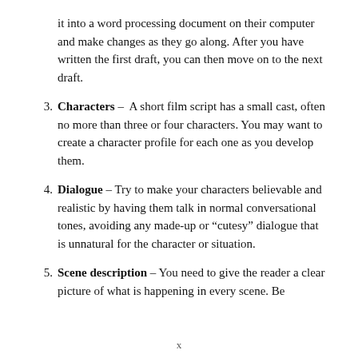it into a word processing document on their computer and make changes as they go along. After you have written the first draft, you can then move on to the next draft.
Characters –  A short film script has a small cast, often no more than three or four characters. You may want to create a character profile for each one as you develop them.
Dialogue – Try to make your characters believable and realistic by having them talk in normal conversational tones, avoiding any made-up or “cutesy” dialogue that is unnatural for the character or situation.
Scene description – You need to give the reader a clear picture of what is happening in every scene. Be
x